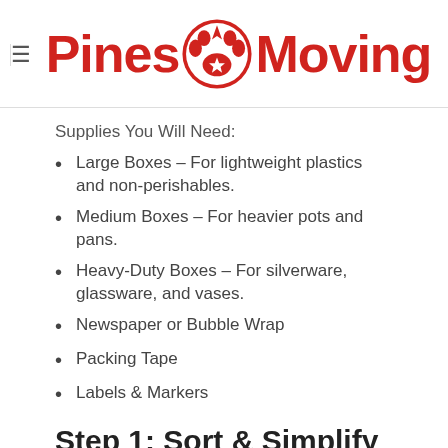Pines Moving
Supplies You Will Need:
Large Boxes – For lightweight plastics and non-perishables.
Medium Boxes – For heavier pots and pans.
Heavy-Duty Boxes – For silverware, glassware, and vases.
Newspaper or Bubble Wrap
Packing Tape
Labels & Markers
Step 1: Sort & Simplify
Before you move, it's important to only take items that you use! You don't want to haul an entire